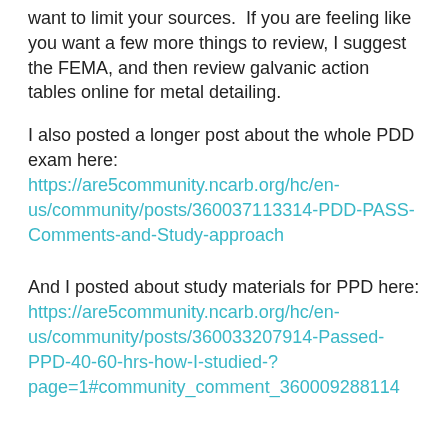want to limit your sources.  If you are feeling like you want a few more things to review, I suggest the FEMA, and then review galvanic action tables online for metal detailing.
I also posted a longer post about the whole PDD exam here: https://are5community.ncarb.org/hc/en-us/community/posts/360037113314-PDD-PASS-Comments-and-Study-approach
And I posted about study materials for PPD here: https://are5community.ncarb.org/hc/en-us/community/posts/360033207914-Passed-PPD-40-60-hrs-how-I-studied-?page=1#community_comment_360009288114